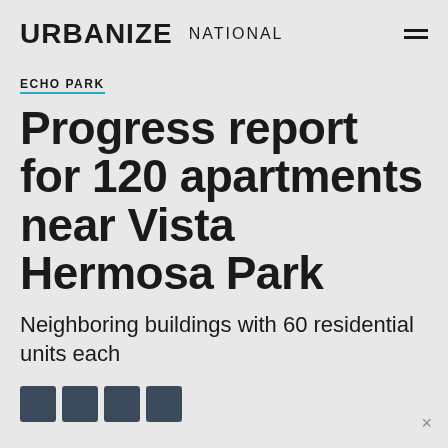URBANIZE NATIONAL
ECHO PARK
Progress report for 120 apartments near Vista Hermosa Park
Neighboring buildings with 60 residential units each